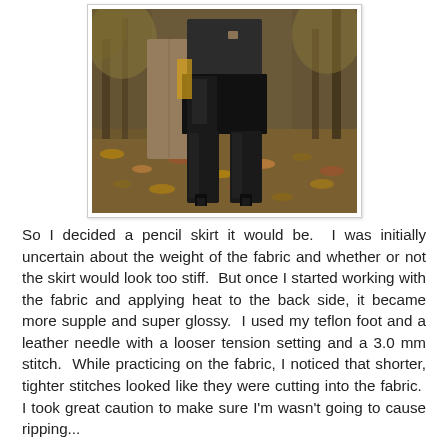[Figure (photo): A person wearing a black patent leather pencil skirt and tall black knee-high heeled boots, holding a tan/brown coat, standing outdoors among fallen autumn leaves on a path with trees in the background.]
So I decided a pencil skirt it would be.  I was initially uncertain about the weight of the fabric and whether or not the skirt would look too stiff.  But once I started working with the fabric and applying heat to the back side, it became more supple and super glossy.  I used my teflon foot and a leather needle with a looser tension setting and a 3.0 mm stitch.  While practicing on the fabric, I noticed that shorter, tighter stitches looked like they were cutting into the fabric.  I took great caution to make sure I'm wasn't going to cause ripping...